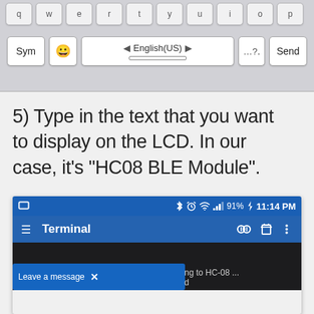[Figure (screenshot): Android keyboard screenshot showing bottom row with Sym, emoji, English(US) spacebar, period, and Send keys on a gray background]
5) Type in the text that you want to display on the LCD. In our case, it's "HC08 BLE Module".
[Figure (screenshot): Android smartphone screenshot showing a Terminal app with a blue status bar displaying 91% battery, 11:14 PM, Bluetooth, alarm and WiFi icons. The Terminal toolbar shows hamburger menu, Terminal title, and action icons. The main body is dark/black. At the bottom is a blue snackbar reading 'Leave a message' with an X close button, and partial text 'ng to HC-08 ... d' visible.]